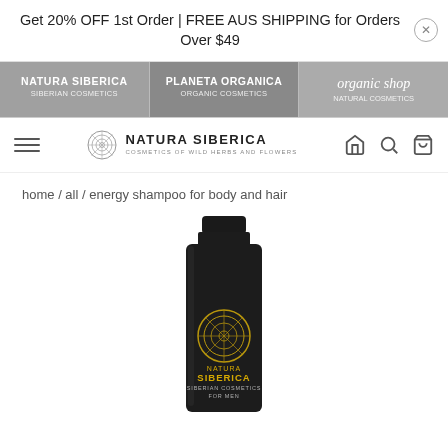Get 20% OFF 1st Order | FREE AUS SHIPPING for Orders Over $49
[Figure (screenshot): Brand navigation bar with three brands: NATURA SIBERICA, PLANETA ORGANICA, organic shop]
[Figure (logo): Natura Siberica logo with circular emblem and text 'NATURA SIBERICA - COSMETICS OF WILD HERBS AND FLOWERS', hamburger menu on left, home/search/cart icons on right]
home / all / energy shampoo for body and hair
[Figure (photo): Black bottle of Natura Siberica energy shampoo for body and hair, Siberian Cosmetics For Men line, with gold circular logo emblem]